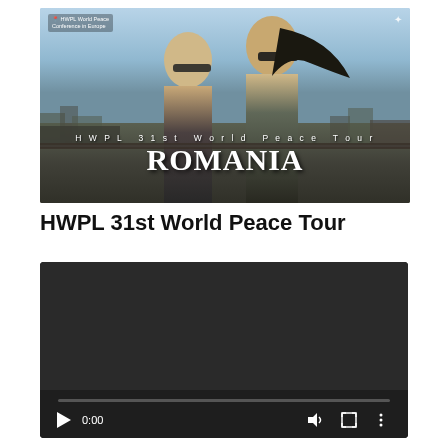[Figure (photo): Promotional banner image for HWPL 31st World Peace Tour in Romania. Two women wearing sunglasses are posed against a cityscape background. Text overlay reads 'HWPL 31st World Peace Tour' and 'ROMANIA' in large white letters. Top-left corner shows 'HWPL World Peace Conference in Europe' label. Top-right corner shows a small logo.]
HWPL 31st World Peace Tour
[Figure (screenshot): A video player with dark background showing no content playing. Controls at the bottom include a play button, time display showing 0:00, a volume icon, a fullscreen icon, and a three-dot menu. A progress bar runs across the bottom.]